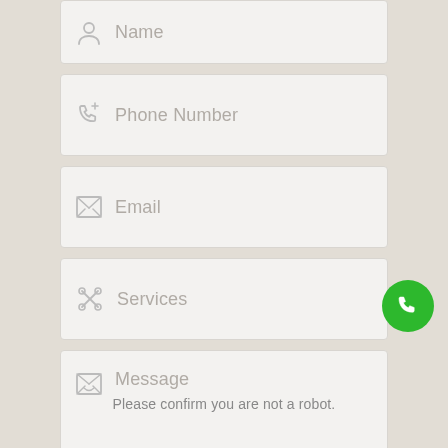[Figure (screenshot): Contact form UI with fields: Name, Phone Number, Email, Services, Message, and a CAPTCHA notice. A green phone FAB button is in the lower right.]
Name
Phone Number
Email
Services
Message
Please confirm you are not a robot.